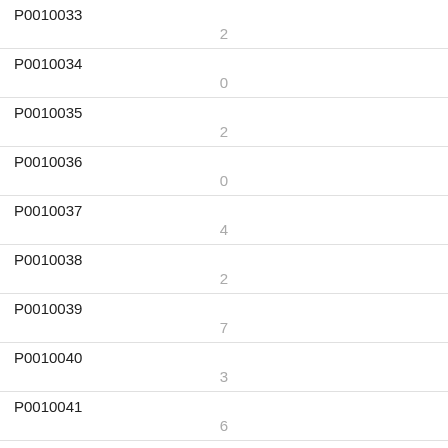| ID | Value |
| --- | --- |
| P0010033 | 2 |
| P0010034 | 0 |
| P0010035 | 2 |
| P0010036 | 0 |
| P0010037 | 4 |
| P0010038 | 2 |
| P0010039 | 7 |
| P0010040 | 3 |
| P0010041 | 6 |
| P0010042 | 4 |